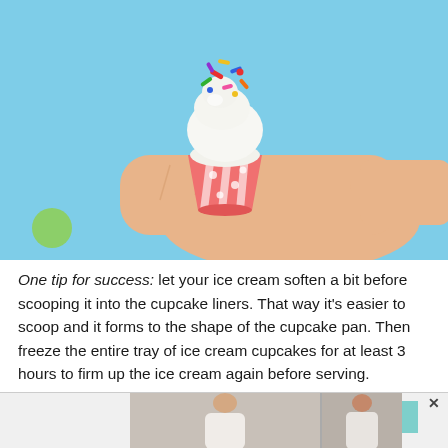[Figure (photo): A hand holding a pink-striped cupcake with white frosting and colorful sprinkles, on a light blue background with colorful polka dots (green, pink)]
One tip for success: let your ice cream soften a bit before scooping it into the cupcake liners. That way it's easier to scoop and it forms to the shape of the cupcake pan. Then freeze the entire tray of ice cream cupcakes for at least 3 hours to firm up the ice cream again before serving.
[Figure (photo): Advertisement banner showing two photos of women in white clothing, with a teal box, close button (X), and ad indicator arrow]